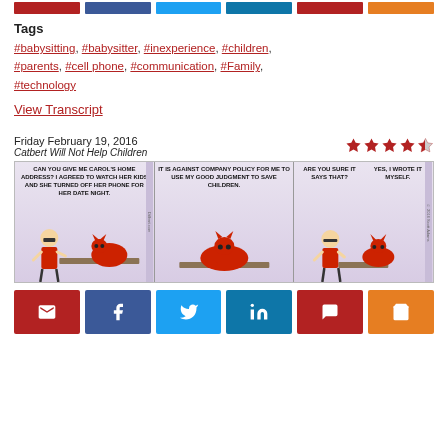[social share buttons top bar]
Tags
#babysitting, #babysitter, #inexperience, #children, #parents, #cell phone, #communication, #Family, #technology
View Transcript
Friday February 19, 2016
Catbert Will Not Help Children
[Figure (illustration): Dilbert comic strip titled 'Catbert Will Not Help Children'. Three panels showing Dilbert talking to Catbert at a desk. Panel 1: Dilbert says 'CAN YOU GIVE ME CAROL'S HOME ADDRESS? I AGREED TO WATCH HER KIDS AND SHE TURNED OFF HER PHONE FOR HER DATE NIGHT.' Panel 2: Catbert replies 'IT IS AGAINST COMPANY POLICY FOR ME TO USE MY GOOD JUDGMENT TO SAVE CHILDREN.' Panel 3: Dilbert asks 'ARE YOU SURE IT SAYS THAT?' Catbert: 'YES, I WROTE IT MYSELF.']
[social share buttons bottom bar: email, facebook, twitter, linkedin, comment, cart]